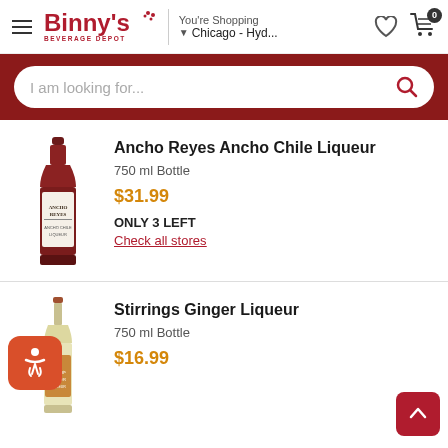Binny's Beverage Depot — You're Shopping Chicago - Hyd...
I am looking for...
[Figure (photo): Bottle of Ancho Reyes Ancho Chile Liqueur, 750 ml, dark red/brown bottle with decorative label]
Ancho Reyes Ancho Chile Liqueur
750 ml Bottle
$31.99
ONLY 3 LEFT
Check all stores
[Figure (photo): Bottle of Stirrings Ginger Liqueur, 750 ml, clear/light yellow bottle with copper label]
Stirrings Ginger Liqueur
750 ml Bottle
$16.99